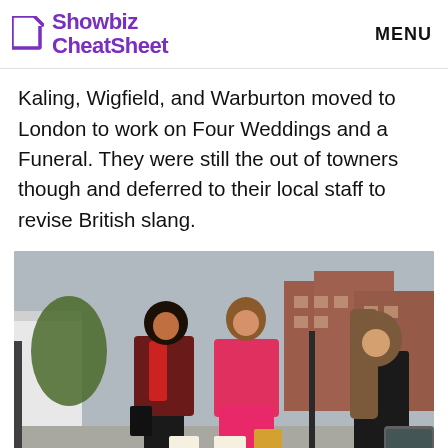Showbiz CheatSheet | MENU
Kaling, Wigfield, and Warburton moved to London to work on Four Weddings and a Funeral. They were still the out of towners though and deferred to their local staff to revise British slang.
[Figure (photo): Two women walking on a London street, one wearing a dark red leather jacket with a red scarf and black pants, the other in a bright pink/red outfit and coat, both carrying shopping bags. A third woman with long hair is partially visible on the right. Red brick buildings and a street lamp visible in the background.]